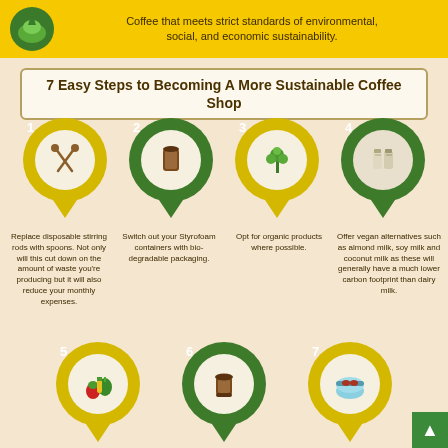Coffee that meets strict standards of environmental, social, and economic sustainability.
7 Easy Steps to Becoming A More Sustainable Coffee Shop
[Figure (infographic): Step 1: Yellow balloon with spoons icon. Step 2: Green balloon with cup icon. Step 3: Yellow balloon with plant icon. Step 4: Green balloon with milk bags icon. Step 5: Yellow balloon with vegetables icon. Step 6: Green balloon with coffee cup icon. Step 7: Yellow balloon with cocoa/spice bowl icon.]
1. Replace disposable stirring rods with spoons. Not only will this cut down on the amount of waste you're producing but it will also reduce your monthly expenses.
2. Switch out your Styrofoam containers with bio-degradable packaging.
3. Opt for organic products where possible.
4. Offer vegan alternatives such as almond milk, soy milk and coconut milk as these will generally have a much lower carbon footprint than dairy milk.